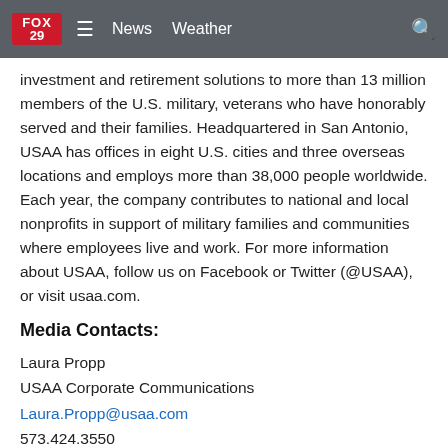FOX 29 | News | Weather
investment and retirement solutions to more than 13 million members of the U.S. military, veterans who have honorably served and their families. Headquartered in San Antonio, USAA has offices in eight U.S. cities and three overseas locations and employs more than 38,000 people worldwide. Each year, the company contributes to national and local nonprofits in support of military families and communities where employees live and work. For more information about USAA, follow us on Facebook or Twitter (@USAA), or visit usaa.com.
Media Contacts:
Laura Propp
USAA Corporate Communications
Laura.Propp@usaa.com
573.424.3550